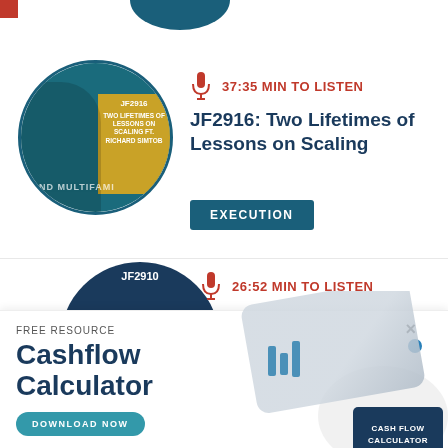[Figure (infographic): Podcast episode card for JF2916: Two Lifetimes of Lessons on Scaling. Shows a circular podcast thumbnail with a man and teal/gold branding, microphone icon, duration 37:35 MIN TO LISTEN, title, and EXECUTION tag button.]
[Figure (infographic): Partial podcast episode card for JF2910, showing 26:52 MIN TO LISTEN with microphone icon. Overlaid by a Free Resource promotional banner for Cashflow Calculator with a DOWNLOAD NOW button and an image of hands using a tablet with a Cash Flow Calculator booklet.]